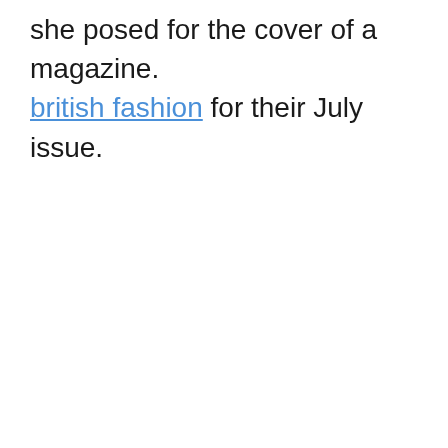she posed for the cover of a magazine. british fashion for their July issue.